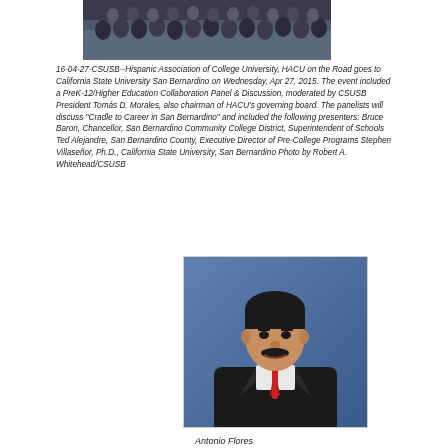[Figure (photo): Group photo of attendees at HACU on the Road event at California State University San Bernardino]
16-04-27-CSUSB--Hispanic Association of College University, HACU on the Road goes to California State University San Bernardino on Wednesday, Apr 27, 2015. The event included a PreK-12/Higher Education Collaboration Panel & Discussion, moderated by CSUSB President Tomás D. Morales, also chairman of HACU's governing board. The panelists will discuss "Cradle to Career in San Bernardino" and included the following presenters: Bruce Baron, Chancellor, San Bernardino Community College District, Superintendent of Schools Ted Alejandre, San Bernardino County, Executive Director of Pre-College Programs Stephen Villaseñor, Ph.D., California State University, San Bernardino Photo by Robert A. Whitehead/CSUSB
[Figure (photo): Portrait photo of Antonio Flores against blue background]
Antonio Flores